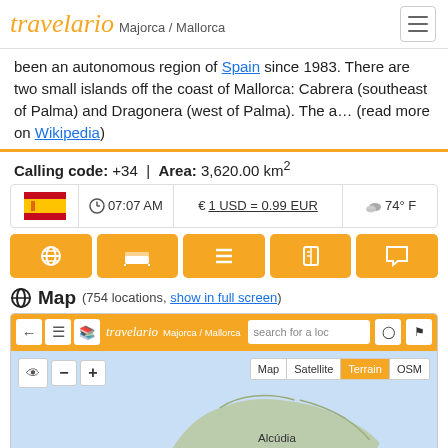travelario Majorca / Mallorca
been an autonomous region of Spain since 1983. There are two small islands off the coast of Mallorca: Cabrera (southeast of Palma) and Dragonera (west of Palma). The a… (read more on Wikipedia)
Calling code: +34 | Area: 3,620.00 km²
[Figure (infographic): Row showing Spain flag, time 07:07 AM, currency 1 USD = 0.99 EUR, weather 74° F]
[Figure (infographic): Row of 5 orange navigation buttons with icons: globe, bed, list, book, chat]
Map (754 locations, show in full screen)
[Figure (map): Embedded travelario map showing Mallorca island terrain view with toolbar, search bar, map/satellite/terrain/OSM type selector, and Alcúdia label]